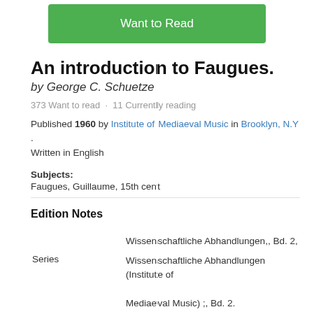[Figure (screenshot): Green 'Want to Read' button]
An introduction to Faugues.
by George C. Schuetze
373 Want to read · 11 Currently reading
Published 1960 by Institute of Mediaeval Music in Brooklyn, N.Y . Written in English
Subjects:
Faugues, Guillaume, 15th cent
Edition Notes
|  |  |
| --- | --- |
| Series | Wissenschaftliche Abhandlungen,, Bd. 2,
Wissenschaftliche Abhandlungen (Institute of Mediaeval Music) ;, Bd. 2. |
Classifications
LC
ML419.F26 S3